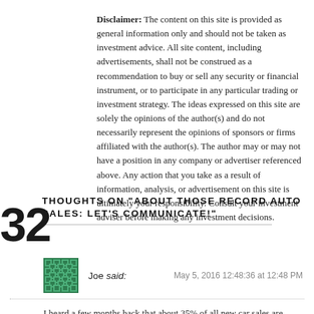Disclaimer: The content on this site is provided as general information only and should not be taken as investment advice. All site content, including advertisements, shall not be construed as a recommendation to buy or sell any security or financial instrument, or to participate in any particular trading or investment strategy. The ideas expressed on this site are solely the opinions of the author(s) and do not necessarily represent the opinions of sponsors or firms affiliated with the author(s). The author may or may not have a position in any company or advertiser referenced above. Any action that you take as a result of information, analysis, or advertisement on this site is ultimately your responsibility. Consult your investment adviser before making any investment decisions.
THOUGHTS ON "ABOUT THOSE RECORD AUTO SALES: LET'S COMMUNICATE!"
Joe said: May 5, 2016 12:48:36 at 12:48 PM
I heard a few months back that about 35% of all new car sales are